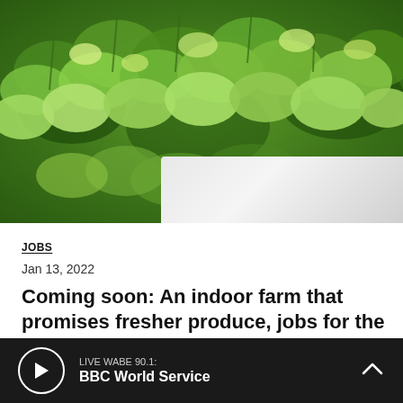[Figure (photo): Close-up photograph of fresh green herbs (parsley or cilantro) growing in a white indoor planter tray, viewed from slightly above with lush dense green foliage filling the frame.]
JOBS
Jan 13, 2022
Coming soon: An indoor farm that promises fresher produce, jobs for the Atlanta...
LIVE WABE 90.1: BBC World Service